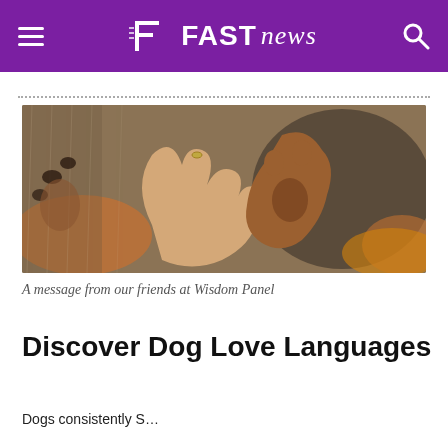≡  FAST news  🔍
[Figure (photo): A human hand and a dog's paw forming a heart shape together, resting on furry brown dog fur, with golden and dark colouring visible.]
A message from our friends at Wisdom Panel
Discover Dog Love Languages
Dogs consistently S...